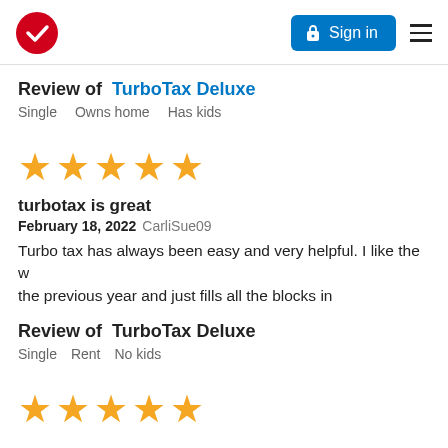[Figure (screenshot): TurboTax website navigation bar with red checkmark logo, blue Sign in button with lock icon, and hamburger menu icon]
Review of TurboTax Deluxe
Single   Owns home   Has kids
[Figure (other): Five gold star rating]
turbotax is great
February 18, 2022 CarliSue09
Turbo tax has always been easy and very helpful. I like the w the previous year and just fills all the blocks in
Review of TurboTax Deluxe
Single   Rent   No kids
[Figure (other): Partial gold star rating row visible at bottom of page]